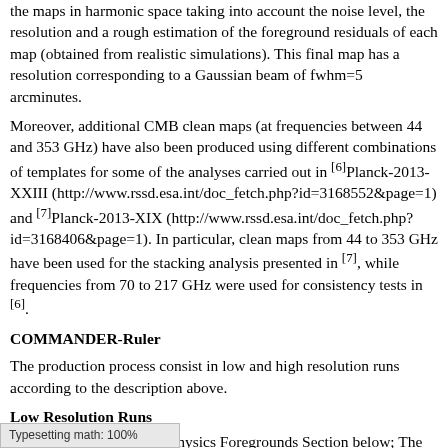the maps in harmonic space taking into account the noise level, the resolution and a rough estimation of the foreground residuals of each map (obtained from realistic simulations). This final map has a resolution corresponding to a Gaussian beam of fwhm=5 arcminutes.
Moreover, additional CMB clean maps (at frequencies between 44 and 353 GHz) have also been produced using different combinations of templates for some of the analyses carried out in [6]Planck-2013-XXIII (http://www.rssd.esa.int/doc_fetch.php?id=3168552&page=1) and [7]Planck-2013-XIX (http://www.rssd.esa.int/doc_fetch.php?id=3168406&page=1). In particular, clean maps from 44 to 353 GHz have been used for the stacking analysis presented in [7], while frequencies from 70 to 217 GHz were used for consistency tests in [6].
COMMANDER-Ruler
The production process consist in low and high resolution runs according to the description above.
Low Resolution Runs
Same as the Astrophysics Foregrounds Section below; The CMB amplitude is fitted along with the other foreground constitutes the CMB Low Resolution foregoing which is in the PLA
Typesetting math: 100%